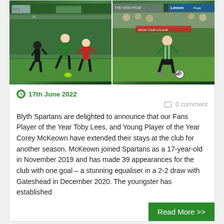[Figure (photo): Two football action photos side by side: left shows Blyth Spartans players in green and white kit running during a match; right shows a Blyth Spartans player in green and white kit dribbling the ball.]
17th June 2022
0 comment
Blyth Spartans are delighted to announce that our Fans Player of the Year Toby Lees, and Young Player of the Year Corey McKeown have extended their stays at the club for another season. McKeown joined Spartans as a 17-year-old in November 2019 and has made 39 appearances for the club with one goal – a stunning equaliser in a 2-2 draw with Gateshead in December 2020. The youngster has established
Read More >>